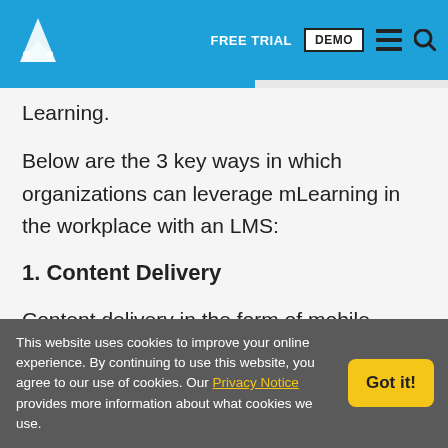FREE TRIAL | DEMO
Learning.
Below are the 3 key ways in which organizations can leverage mLearning in the workplace with an LMS:
1. Content Delivery
Content delivery in the form of mobile-ready and mobile-optimized multi-media, which includes a
This website uses cookies to improve your online experience. By continuing to use this website, you agree to our use of cookies. Our Privacy Notice provides more information about what cookies we use.